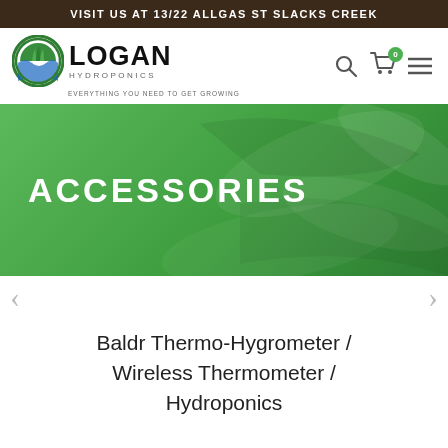VISIT US AT 13/22 ALLGAS ST SLACKS CREEK
[Figure (logo): Logan Hydroponics logo with circular green leaf emblem, bold 'LOGAN' text, 'HYDROPONICS' subtitle, and tagline 'EVERYTHING YOU NEED TO GET GROWING']
[Figure (illustration): Navigation icons: search magnifier, shopping cart with badge '0', and hamburger menu]
[Figure (illustration): Green banner with decorative leaf/plant background texture and 'ACCESSORIES' heading in white bold uppercase text]
[Figure (illustration): Left and right navigation arrows for slider]
Baldr Thermo-Hygrometer / Wireless Thermometer / Hydroponics